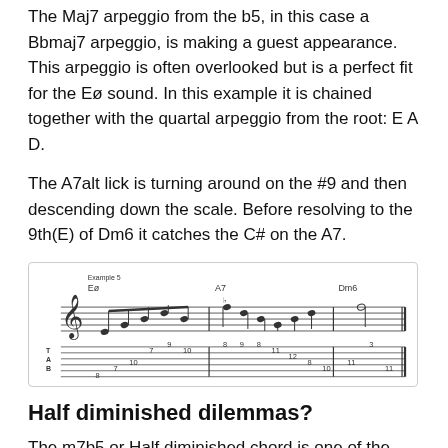The Maj7 arpeggio from the b5, in this case a Bbmaj7 arpeggio, is making a guest appearance. This arpeggio is often overlooked but is a perfect fit for the Eø sound. In this example it is chained together with the quartal arpeggio from the root: E A D.
The A7alt lick is turning around on the #9 and then descending down the scale. Before resolving to the 9th(E) of Dm6 it catches the C# on the A7.
[Figure (other): Sheet music and guitar tablature for Example 5 showing an Eø chord followed by A7 and Dm6 passages.]
Half diminished dilemmas?
The m7b5 or Half diminished chord is one of the chords I get asked about most often, so I hope you can apply some of